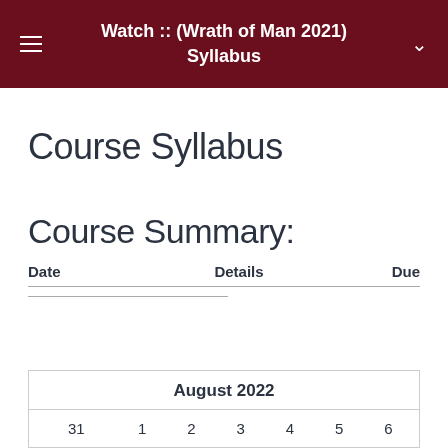Watch :: (Wrath of Man 2021) Syllabus
Course Syllabus
Course Summary:
| Date | Details | Due |
| --- | --- | --- |
| 31 | 1 | 2 | 3 | 4 | 5 | 6 |
| --- | --- | --- | --- | --- | --- | --- |